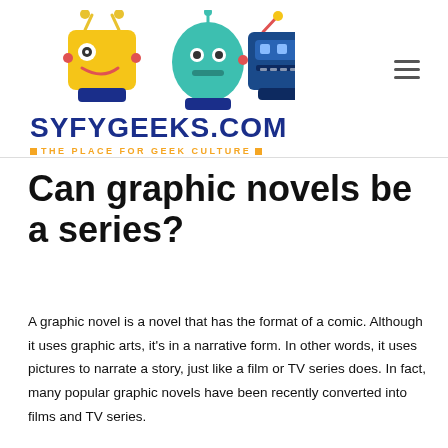[Figure (logo): SyfyGeeks.com website logo with three cartoon robots (yellow square robot, teal round robot, blue square robot) above the site name SYFYGEEKS.COM in dark blue bold uppercase, and tagline THE PLACE FOR GEEK CULTURE in orange uppercase with orange squares on each side]
Can graphic novels be a series?
A graphic novel is a novel that has the format of a comic. Although it uses graphic arts, it's in a narrative form. In other words, it uses pictures to narrate a story, just like a film or TV series does. In fact, many popular graphic novels have been recently converted into films and TV series.